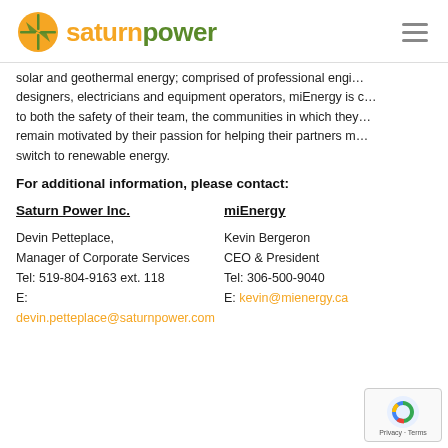saturnpower
solar and geothermal energy; comprised of professional engineers, designers, electricians and equipment operators, miEnergy is committed to both the safety of their team, the communities in which they operate and remain motivated by their passion for helping their partners make the switch to renewable energy.
For additional information, please contact:
Saturn Power Inc.

Devin Petteplace,
Manager of Corporate Services
Tel: 519-804-9163 ext. 118
E: devin.petteplace@saturnpower.com
miEnergy

Kevin Bergeron
CEO & President
Tel: 306-500-9040
E: kevin@mienergy.ca